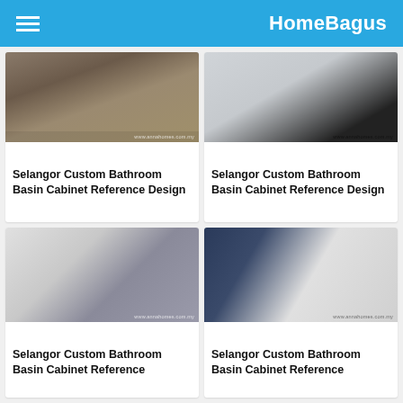HomeBagus
[Figure (photo): Dark wood bathroom basin cabinet with stone countertop on wooden floor]
Selangor Custom Bathroom Basin Cabinet Reference Design
[Figure (photo): White bathroom basin cabinet with dark countertop]
Selangor Custom Bathroom Basin Cabinet Reference Design
[Figure (photo): White and grey floating bathroom basin cabinet with round sink]
Selangor Custom Bathroom Basin Cabinet Reference Design
[Figure (photo): Navy blue and white open cabinet shelving unit]
Selangor Custom Bathroom Basin Cabinet Reference Design